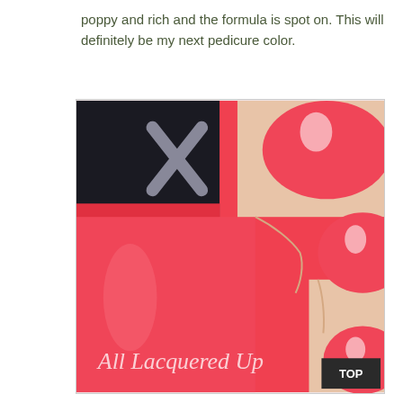poppy and rich and the formula is spot on. This will definitely be my next pedicure color.
[Figure (photo): Close-up photo of a hand with coral/red nail polish on three fingers, next to a nail polish bottle with the same bright coral-red color. A watermark reads 'All Lacquered Up' in script at the bottom left. A dark 'TOP' button appears at the bottom right.]